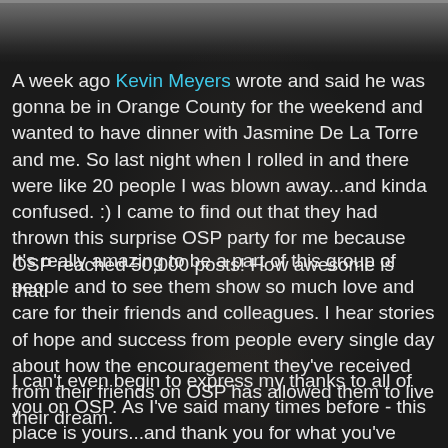[Figure (photo): Dark background photo of a person wearing a cap, partially visible behind text overlay]
A week ago Kevin Meyers wrote and said he was gonna be in Orange County for the weekend and wanted to have dinner with Jasmine De La Torre and me. So last night when I rolled in and there were like 20 people I was blown away...and kinda confused. :) I came to find out that they had thrown this surprise OSP party for me because OSP reached 50,000 posts! How awesome is that!
It's really amazing to be a part of this group of people and to see them show so much love and care for their friends and colleagues. I hear stories of hope and success from people every single day about how the encouragement they've received from their friends on OSP has allowed them to live their dream.
I can't even begin to express my thanks to all of you on OSP. As I've said many times before - this place is yours...and thank you for what you've made it. The reason it has gotten so big is because you have created an environment where people can be who they are, an environment where people